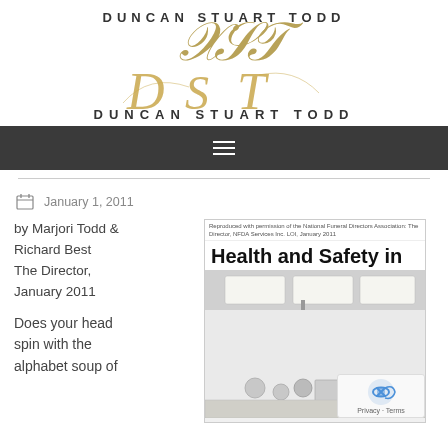[Figure (logo): Duncan Stuart Todd logo with gold script monogram DST and bold uppercase text DUNCAN STUART TODD]
[Figure (other): Dark navigation bar with hamburger menu icon (three horizontal white lines)]
January 1, 2011
by Marjori Todd & Richard Best
The Director, January 2011
Does your head spin with the alphabet soup of
[Figure (photo): Article thumbnail showing a medical/mortuary room with overhead surgical lights and equipment. Headline reads 'Health and Safety in'. Small caption text at top reads 'Reproduced with permission of the National Funeral Directors Association: The Director, NFDA Services Inc. LOI, January 2011']